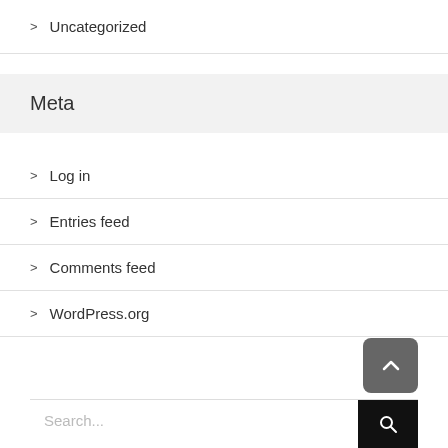> Uncategorized
Meta
> Log in
> Entries feed
> Comments feed
> WordPress.org